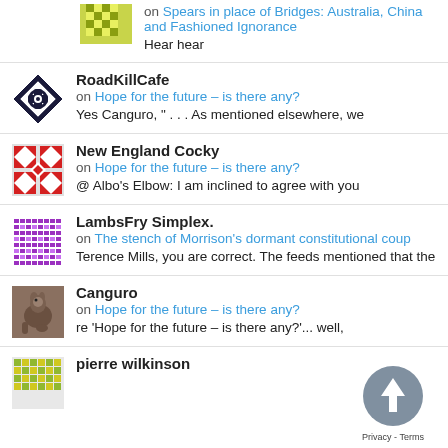on Spears in place of Bridges: Australia, China and Fashioned Ignorance
Hear hear
RoadKillCafe
on Hope for the future – is there any?
Yes Canguro, " . . . As mentioned elsewhere, we
New England Cocky
on Hope for the future – is there any?
@ Albo's Elbow: I am inclined to agree with you
LambsFry Simplex.
on The stench of Morrison's dormant constitutional coup
Terence Mills, you are correct. The feeds mentioned that the
Canguro
on Hope for the future – is there any?
re 'Hope for the future – is there any?'... well,
pierre wilkinson